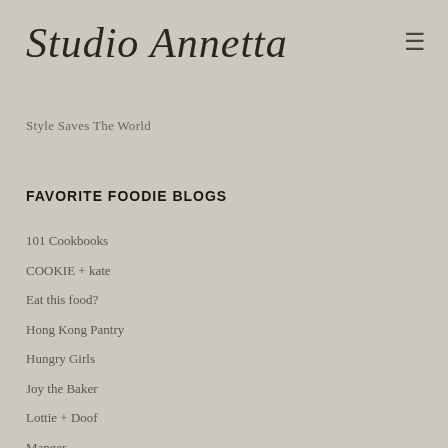Studio Annetta
Style Saves The World
FAVORITE FOODIE BLOGS
101 Cookbooks
COOKIE + kate
Eat this food?
Hong Kong Pantry
Hungry Girls
Joy the Baker
Lottie + Doof
Manger
My New Roots
My friends can cook.
Nourish Me
Pinch and Peel